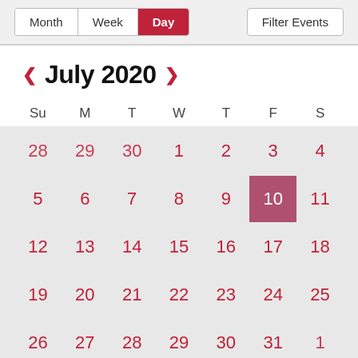[Figure (screenshot): Calendar UI toolbar with Month, Week, Day tabs (Day active/selected in red) and a Filter Events button on the right.]
July 2020
| Su | M | T | W | T | F | S |
| --- | --- | --- | --- | --- | --- | --- |
| 28 | 29 | 30 | 1 | 2 | 3 | 4 |
| 5 | 6 | 7 | 8 | 9 | 10 | 11 |
| 12 | 13 | 14 | 15 | 16 | 17 | 18 |
| 19 | 20 | 21 | 22 | 23 | 24 | 25 |
| 26 | 27 | 28 | 29 | 30 | 31 | 1 |